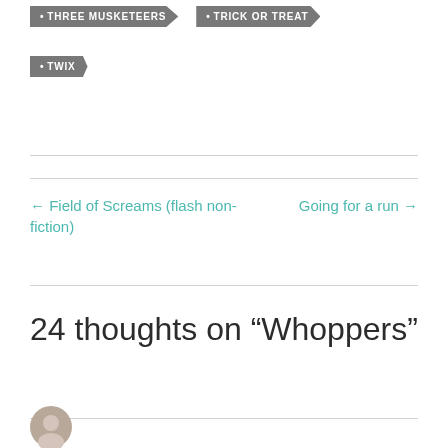• THREE MUSKETEERS
• TRICK OR TREAT
• TWIX
← Field of Screams (flash non-fiction)
Going for a run →
24 thoughts on “Whoppers”